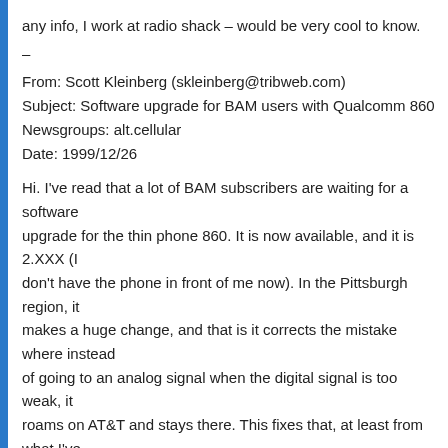any info, I work at radio shack – would be very cool to know.
–
From: Scott Kleinberg (skleinberg@tribweb.com)
Subject: Software upgrade for BAM users with Qualcomm 860
Newsgroups: alt.cellular
Date: 1999/12/26
Hi. I've read that a lot of BAM subscribers are waiting for a software upgrade for the thin phone 860. It is now available, and it is 2.XXX (I don't have the phone in front of me now). In the Pittsburgh region, it makes a huge change, and that is it corrects the mistake where instead of going to an analog signal when the digital signal is too weak, it roams on AT&T and stays there. This fixes that, at least from what I've been able to see.